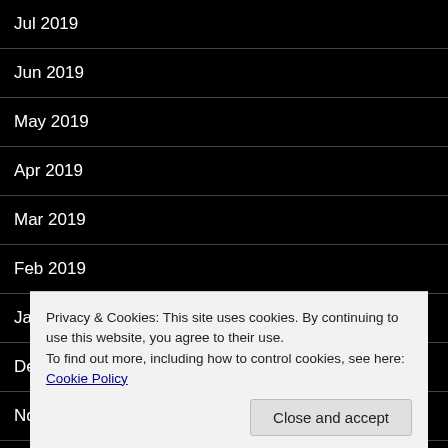Jul 2019
Jun 2019
May 2019
Apr 2019
Mar 2019
Feb 2019
Jan 2019
Dec 2018
Nov 2018
Privacy & Cookies: This site uses cookies. By continuing to use this website, you agree to their use.
To find out more, including how to control cookies, see here: Cookie Policy
Close and accept